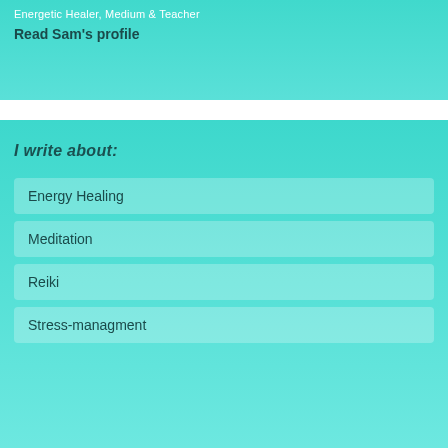Energetic Healer, Medium & Teacher
Read Sam's profile
I write about:
Energy Healing
Meditation
Reiki
Stress-managment